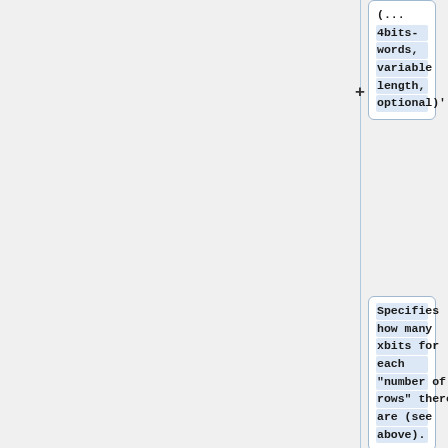(... 4bits-words, variable length, optional)'''
Specifies how many xbits for each "number of rows" there are (see above).
Only present if the "Codebook Selector" has the value of "7"